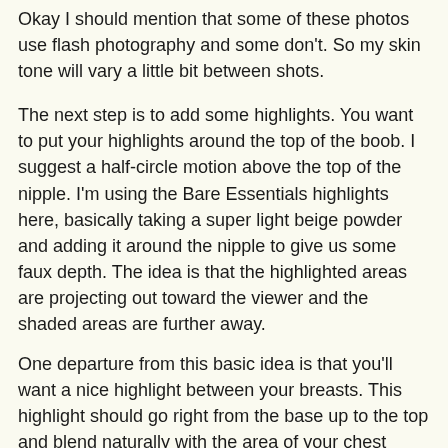Okay I should mention that some of these photos use flash photography and some don't. So my skin tone will vary a little bit between shots.
The next step is to add some highlights. You want to put your highlights around the top of the boob. I suggest a half-circle motion above the top of the nipple. I'm using the Bare Essentials highlights here, basically taking a super light beige powder and adding it around the nipple to give us some faux depth. The idea is that the highlighted areas are projecting out toward the viewer and the shaded areas are further away.
One departure from this basic idea is that you'll want a nice highlight between your breasts. This highlight should go right from the base up to the top and blend naturally with the area of your chest between your boobs and collar. I also used my NYX pearl eye shadow base for a highlight and also my NYX Push Up Brow pencil.
Don't hesitate and get blending with...And remember that it...